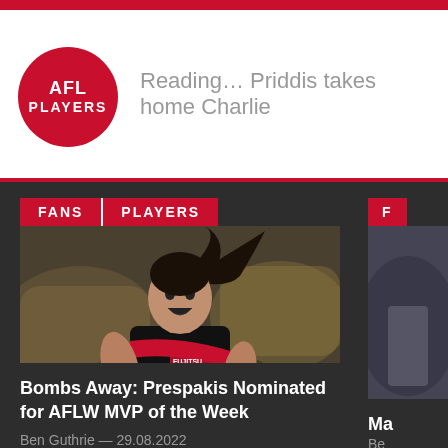Reading… Priddis takes home Charlie
[Figure (photo): AFLW player wearing Essendon Bombers black and red jersey celebrating on field, mouth open in celebration, crowd in background]
Bombs Away: Prespakis Nominated for AFLW MVP of the Week
Ben Guthrie — 29.08.2022